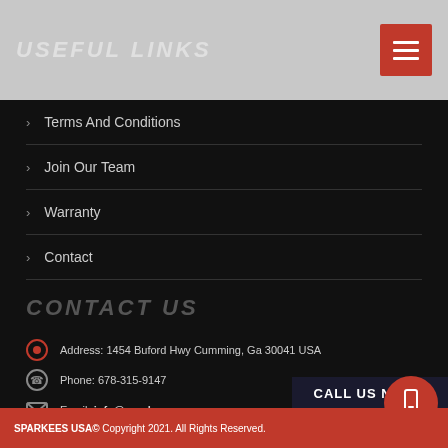USEFUL LINKS
Terms And Conditions
Join Our Team
Warranty
Contact
CONTACT US
Address: 1454 Buford Hwy Cumming, Ga 30041 USA
Phone: 678-315-9147
Email: info@sparkees.com
CALL US NOW !
SPARKEES USA© Copyright 2021. All Rights Reserved.